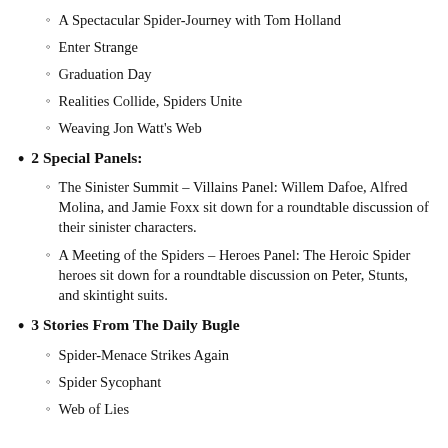A Spectacular Spider-Journey with Tom Holland
Enter Strange
Graduation Day
Realities Collide, Spiders Unite
Weaving Jon Watt's Web
2 Special Panels:
The Sinister Summit – Villains Panel: Willem Dafoe, Alfred Molina, and Jamie Foxx sit down for a roundtable discussion of their sinister characters.
A Meeting of the Spiders – Heroes Panel: The Heroic Spider heroes sit down for a roundtable discussion on Peter, Stunts, and skintight suits.
3 Stories From The Daily Bugle
Spider-Menace Strikes Again
Spider Sycophant
Web of Lies